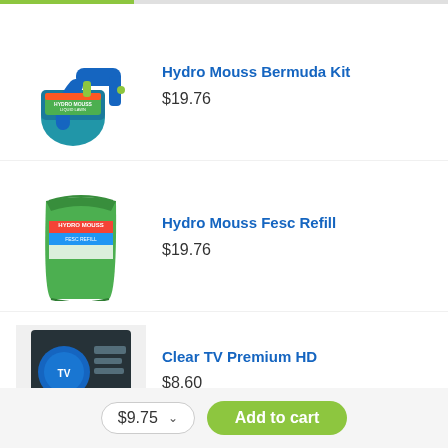[Figure (illustration): Green progress bar at top of page]
[Figure (photo): Hydro Mouss Bermuda Kit product - blue spray bottle with green label]
Hydro Mouss Bermuda Kit
$19.76
[Figure (photo): Hydro Mouss Fesc Refill product - green bag with colorful label]
Hydro Mouss Fesc Refill
$19.76
[Figure (photo): Clear TV Premium HD product - dark box with blue circular logo, shown partially]
Clear TV Premium HD
$8.60
$9.75
Add to cart